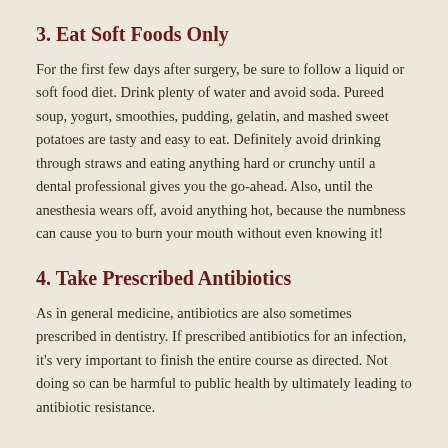3. Eat Soft Foods Only
For the first few days after surgery, be sure to follow a liquid or soft food diet. Drink plenty of water and avoid soda. Pureed soup, yogurt, smoothies, pudding, gelatin, and mashed sweet potatoes are tasty and easy to eat. Definitely avoid drinking through straws and eating anything hard or crunchy until a dental professional gives you the go-ahead. Also, until the anesthesia wears off, avoid anything hot, because the numbness can cause you to burn your mouth without even knowing it!
4. Take Prescribed Antibiotics
As in general medicine, antibiotics are also sometimes prescribed in dentistry. If prescribed antibiotics for an infection, it's very important to finish the entire course as directed. Not doing so can be harmful to public health by ultimately leading to antibiotic resistance.